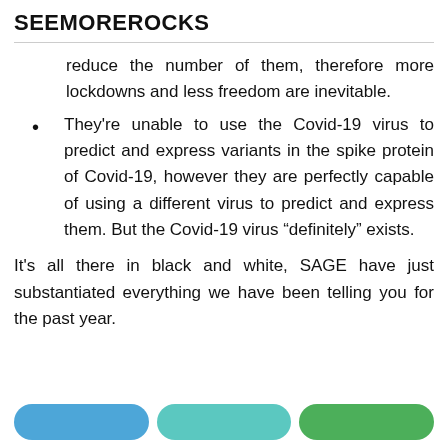SEEMOREROCKS
reduce the number of them, therefore more lockdowns and less freedom are inevitable.
They're unable to use the Covid-19 virus to predict and express variants in the spike protein of Covid-19, however they are perfectly capable of using a different virus to predict and express them. But the Covid-19 virus “definitely” exists.
It’s all there in black and white, SAGE have just substantiated everything we have been telling you for the past year.